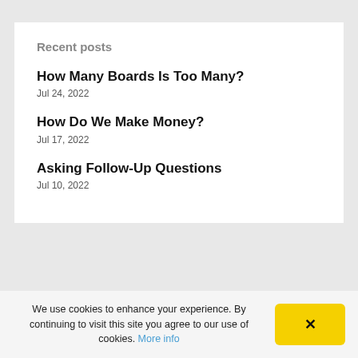Recent posts
How Many Boards Is Too Many?
Jul 24, 2022
How Do We Make Money?
Jul 17, 2022
Asking Follow-Up Questions
Jul 10, 2022
We use cookies to enhance your experience. By continuing to visit this site you agree to our use of cookies. More info